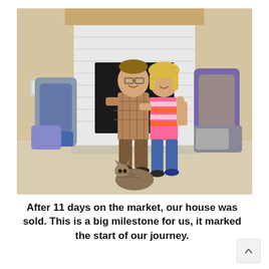[Figure (photo): A couple sitting in front of a white brick fireplace in an empty room, surrounded by large backpacks and travel gear. A cat lies on the floor in front of them. The man wears a plaid shirt and brown pants; the woman wears a striped tank top and jeans.]
After 11 days on the market, our house was sold. This is a big milestone for us, it marked the start of our journey.